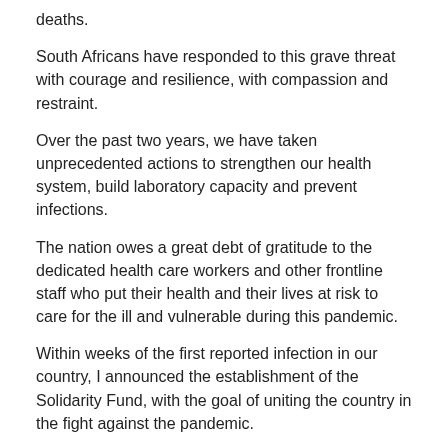deaths.
South Africans have responded to this grave threat with courage and resilience, with compassion and restraint.
Over the past two years, we have taken unprecedented actions to strengthen our health system, build laboratory capacity and prevent infections.
The nation owes a great debt of gratitude to the dedicated health care workers and other frontline staff who put their health and their lives at risk to care for the ill and vulnerable during this pandemic.
Within weeks of the first reported infection in our country, I announced the establishment of the Solidarity Fund, with the goal of uniting the country in the fight against the pandemic.
In a wave of generosity that swept the country, the Fund raised R3.4 billion from more than 300,000 individuals and 3,000 companies and foundations. More than 400 individuals and 100 companies volunteered their time and services.
The Fund has played a pivotal role in supporting the national health response and alleviating the humanitarian crisis.